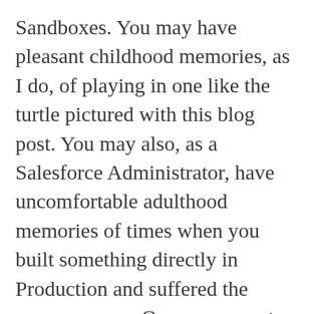Sandboxes. You may have pleasant childhood memories, as I do, of playing in one like the turtle pictured with this blog post. You may also, as a Salesforce Administrator, have uncomfortable adulthood memories of times when you built something directly in Production and suffered the consequences. Or you may not… yet. You may know in your heart that making configuration changes in a live (as in currently-in-use) Salesforce org without a solid Sandbox strategy is going to hurt in the long run, but what does this really mean for you? Perhaps you have a small